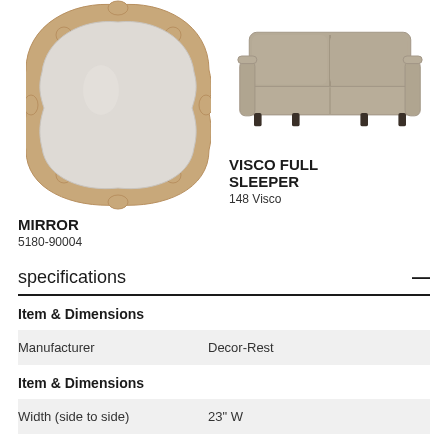[Figure (photo): Decorative mirror with ornate wooden frame in antique finish]
MIRROR
5180-90004
[Figure (photo): Beige/taupe fabric full sleeper sofa with rolled arms and two back cushions]
VISCO FULL SLEEPER
148 Visco
specifications
Item & Dimensions
| Attribute | Value |
| --- | --- |
| Manufacturer | Decor-Rest |
Item & Dimensions
| Attribute | Value |
| --- | --- |
| Width (side to side) | 23" W |